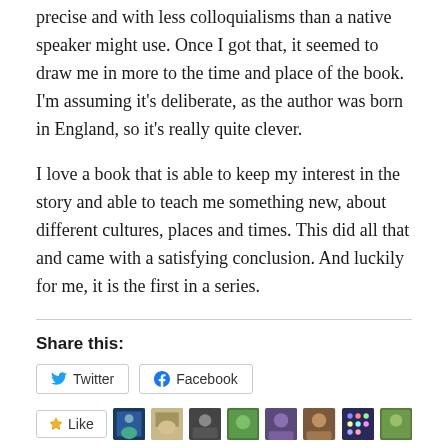precise and with less colloquialisms than a native speaker might use. Once I got that, it seemed to draw me in more to the time and place of the book. I'm assuming it's deliberate, as the author was born in England, so it's really quite clever.
I love a book that is able to keep my interest in the story and able to teach me something new, about different cultures, places and times. This did all that and came with a satisfying conclusion. And luckily for me, it is the first in a series.
Share this:
Twitter | Facebook
[Figure (other): Like button and row of user avatar thumbnails]